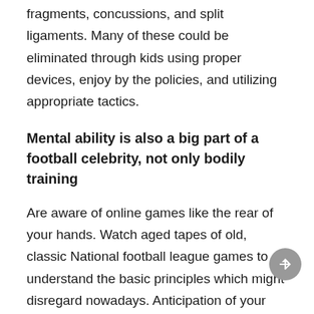fragments, concussions, and split ligaments. Many of these could be eliminated through kids using proper devices, enjoy by the policies, and utilizing appropriate tactics.
Mental ability is also a big part of a football celebrity, not only bodily training
Are aware of online games like the rear of your hands. Watch aged tapes of old, classic National football league games to understand the basic principles which might disregard nowadays. Anticipation of your rival and ideal moves are qualities that impressive baseball gamers possessed